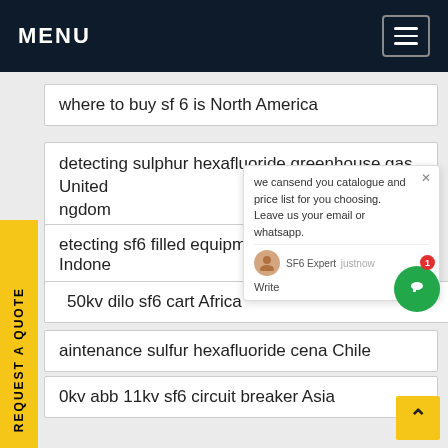MENU
where to buy sf 6 is North America
detecting sulphur hexafluoride greenhouse gas United Kingdom
detecting sf6 filled equipment Indonesia
50kv dilo sf6 cart Africa
maintenance sulfur hexafluoride cena Chile
0kv abb 11kv sf6 circuit breaker Asia
750kv sf6 filled equipment France
detecting sulphur hexafluoride for sale Asia
we cansend you catalogue and price list for you choosing. Leave us your email or whatsapp.
SF6 Expert  justnow
Write
REQUEST A QUOTE